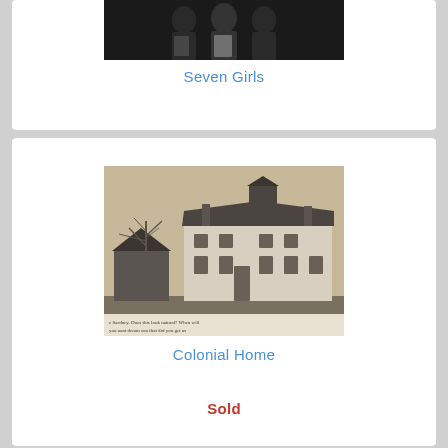[Figure (photo): Partial view of a black and white photograph showing seven girls]
Seven Girls
[Figure (photo): Black and white photograph of a colonial-style building with a bell tower/cupola, a small outbuilding to the left, bare trees, and handwritten text along the bottom edge of the postcard]
Colonial Home
Sold